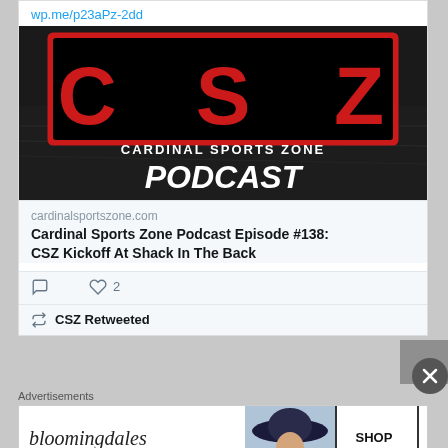wp.me/p23aPz-2dd
[Figure (logo): Cardinal Sports Zone Podcast logo: CSZ letters in red on black background with 'CARDINAL SPORTS ZONE PODCAST' text]
cardinalsportszone.com
Cardinal Sports Zone Podcast Episode #138: CSZ Kickoff At Shack In The Back
♡ 2
CSZ Retweeted
Advertisements
[Figure (photo): Bloomingdales advertisement: logo, 'View Today's Top Deals!' text, woman with hat, SHOP NOW button]